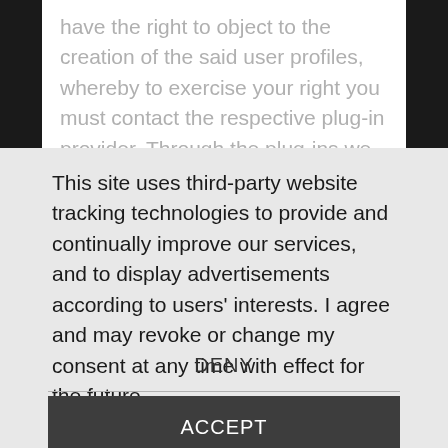have the right to object to the creation of the said user profiles, whereby to exercise your right you must contact the respective plug-in provider. Through the plug-ins we
This site uses third-party website tracking technologies to provide and continually improve our services, and to display advertisements according to users' interests. I agree and may revoke or change my consent at any time with effect for the future.
DENY
ACCEPT
MORE
Powered by usercentrics & eRecht24